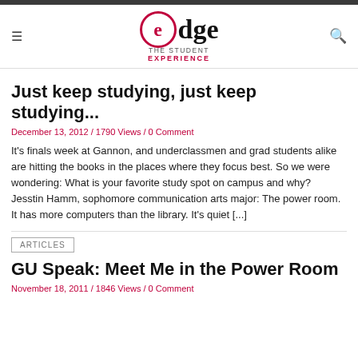[Figure (logo): Edge – the student EXPERIENCE logo with circular 'e' in crimson]
Just keep studying, just keep studying...
December 13, 2012 / 1790 Views / 0 Comment
It's finals week at Gannon, and underclassmen and grad students alike are hitting the books in the places where they focus best. So we were wondering: What is your favorite study spot on campus and why?   Jesstin Hamm, sophomore communication arts major: The power room. It has more computers than the library. It's quiet [...]
ARTICLES
GU Speak: Meet Me in the Power Room
November 18, 2011 / 1846 Views / 0 Comment